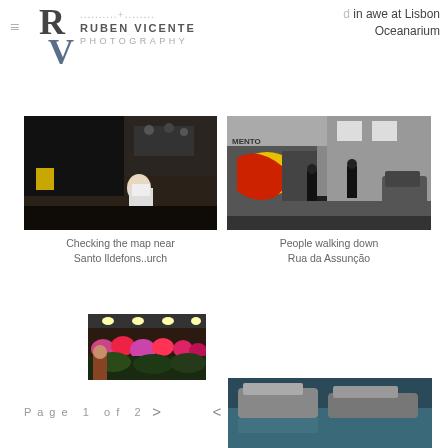Ruben Vicente Photography
d in awe at Lisbon Oceanarium
[Figure (photo): Person reading a map or newspaper near Santo Ildefons church steps, dark moody street photography]
Checking the map near Santo Ildefons..urch
[Figure (photo): People walking down a street with colorful graffiti on garage door, Rua da Assunção]
People walking down Rua da Assunção
[Figure (photo): Flower market stall with colorful flowers and vendor]
[Figure (photo): Aerial or close-up view of boats or water scene, partially visible]
Page 1 of 2